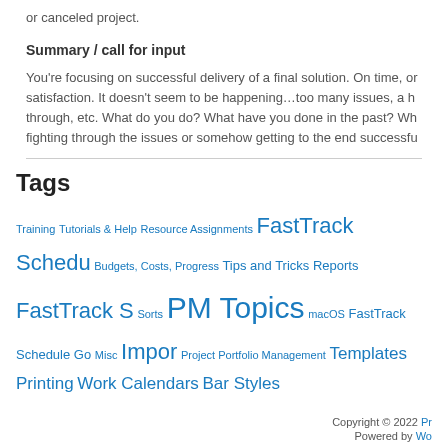or canceled project.
Summary / call for input
You're focusing on successful delivery of a final solution. On time, or satisfaction. It doesn't seem to be happening…too many issues, a h through, etc. What do you do? What have you done in the past? Wh fighting through the issues or somehow getting to the end successfu
Tags
Training Tutorials & Help Resource Assignments FastTrack Schedu Budgets, Costs, Progress Tips and Tricks Reports FastTrack S Sorts PM Topics macOS FastTrack Schedule Go Misc Impor Project Portfolio Management Templates Printing Work Calendars Bar Styles
Copyright © 2022 Pr Powered by Wo